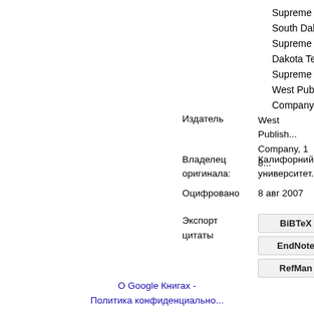Supreme Court of South Dakota, Supreme Court of Dakota Territory, Supreme Court, West Publishing Company
Издатель: West Publishing Company, 18...
Владелец оригинала: Калифорнийский университет
Оцифровано: 8 авг 2007
Экспорт цитаты
BiBTeX
EndNote
RefMan
О Google Книгах - Политика конфиденциальности